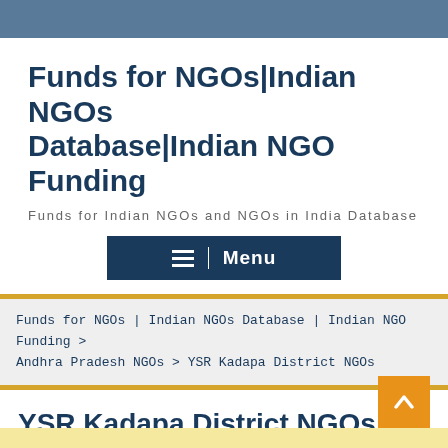Funds for NGOs|Indian NGOs Database|Indian NGO Funding
Funds for Indian NGOs and NGOs in India Database
Menu
Funds for NGOs | Indian NGOs Database | Indian NGO Funding > Andhra Pradesh NGOs > YSR Kadapa District NGOs
YSR Kadapa District NGOs
September 26, 2017   admin